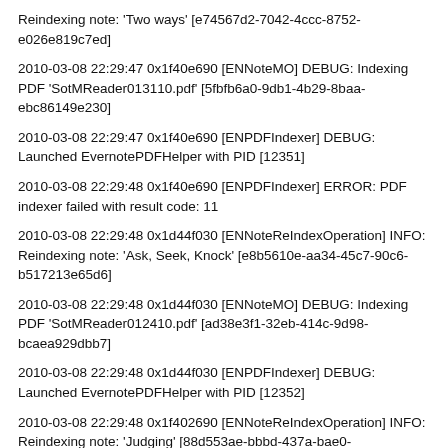Reindexing note: 'Two ways' [e74567d2-7042-4ccc-8752-e026e819c7ed]
2010-03-08 22:29:47 0x1f40e690 [ENNoteMO] DEBUG: Indexing PDF 'SotMReader013110.pdf' [5fbfb6a0-9db1-4b29-8baa-ebc86149e230]
2010-03-08 22:29:47 0x1f40e690 [ENPDFIndexer] DEBUG: Launched EvernotePDFHelper with PID [12351]
2010-03-08 22:29:48 0x1f40e690 [ENPDFIndexer] ERROR: PDF indexer failed with result code: 11
2010-03-08 22:29:48 0x1d44f030 [ENNoteReIndexOperation] INFO: Reindexing note: 'Ask, Seek, Knock' [e8b5610e-aa34-45c7-90c6-b517213e65d6]
2010-03-08 22:29:48 0x1d44f030 [ENNoteMO] DEBUG: Indexing PDF 'SotMReader012410.pdf' [ad38e3f1-32eb-414c-9d98-bcaea929dbb7]
2010-03-08 22:29:48 0x1d44f030 [ENPDFIndexer] DEBUG: Launched EvernotePDFHelper with PID [12352]
2010-03-08 22:29:48 0x1f402690 [ENNoteReIndexOperation] INFO: Reindexing note: 'Judging' [88d553ae-bbbd-437a-bae0-6f13d3a6042b]
2010-03-08 22:29:48 0x1f402690 [ENNoteMO] DEBUG: Indexing PDF